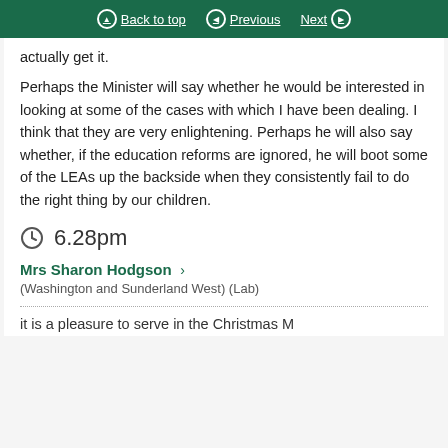Back to top | Previous | Next
actually get it.
Perhaps the Minister will say whether he would be interested in looking at some of the cases with which I have been dealing. I think that they are very enlightening. Perhaps he will also say whether, if the education reforms are ignored, he will boot some of the LEAs up the backside when they consistently fail to do the right thing by our children.
6.28pm
Mrs Sharon Hodgson
(Washington and Sunderland West) (Lab)
it is a pleasure to serve in the Christmas...